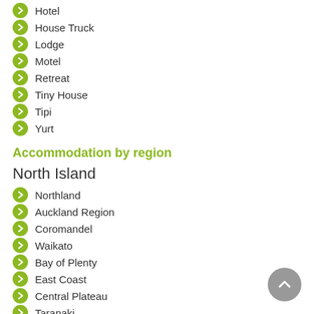Hotel
House Truck
Lodge
Motel
Retreat
Tiny House
Tipi
Yurt
Accommodation by region
North Island
Northland
Auckland Region
Coromandel
Waikato
Bay of Plenty
East Coast
Central Plateau
Taranaki